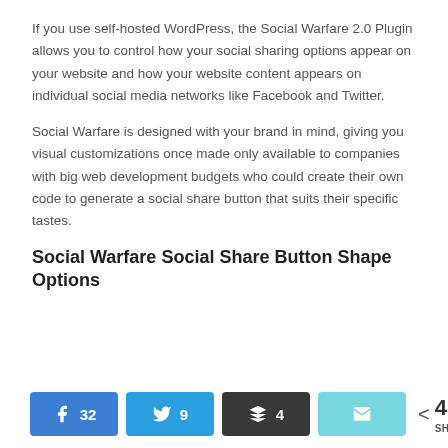If you use self-hosted WordPress, the Social Warfare 2.0 Plugin allows you to control how your social sharing options appear on your website and how your website content appears on individual social media networks like Facebook and Twitter.
Social Warfare is designed with your brand in mind, giving you visual customizations once made only available to companies with big web development budgets who could create their own code to generate a social share button that suits their specific tastes.
Social Warfare Social Share Button Shape Options
[Figure (infographic): Social share button bar showing: Facebook button with count 32, Twitter button with count 9, Buffer button with count 4, Email button (no count), and total share count of 45 SHARES]